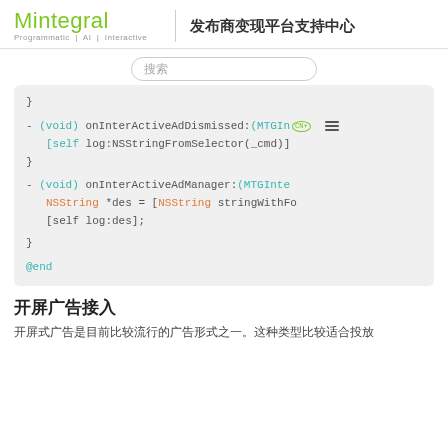Mintegral Programmatic | AI | Interactive 发布商变现平台支持中心
[Figure (screenshot): Search bar with placeholder text 搜索]
}
- (void) onInterActiveAdDismissed:(MTGIn...
    [self log:NSStringFromSelector(_cmd)]
}
- (void) onInterActiveAdManager:(MTGInte
    NSString *des = [NSString stringWithFo
    [self log:des];
}
@end
开屏广告接入
开屏式广告是目前比较流行的广告形式之一。这种类型比较适合投放